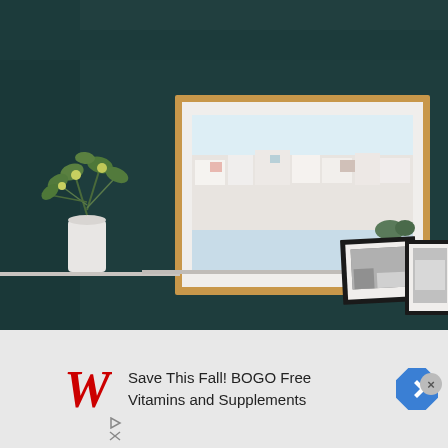[Figure (photo): Interior room photo: dark teal/navy wall with a large wooden-framed artwork showing a Mediterranean hillside town (likely Santorini), a white vase with green plant on the left, and smaller black-framed photos on the right on a shelf.]
[Figure (infographic): Advertisement banner: Walgreens logo (red cursive W), text 'Save This Fall! BOGO Free Vitamins and Supplements', blue diamond arrow icon on the right. Close button (x) in top right. Small play and x icons bottom left of ad area.]